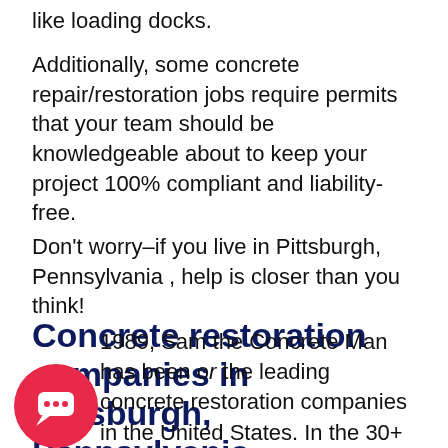like loading docks.
Additionally, some concrete repair/restoration jobs require permits that your team should be knowledgeable about to keep your project 100% compliant and liability-free.
Don't worry–if you live in Pittsburgh, Pennsylvania , help is closer than you think!
Concrete restoration companies in Pittsburgh, Pennsylvania
[Figure (other): Red circular chat/support icon]
1989, Sam the Concrete Man has been o r the leading concrete restoration companies in the United States. In the 30+